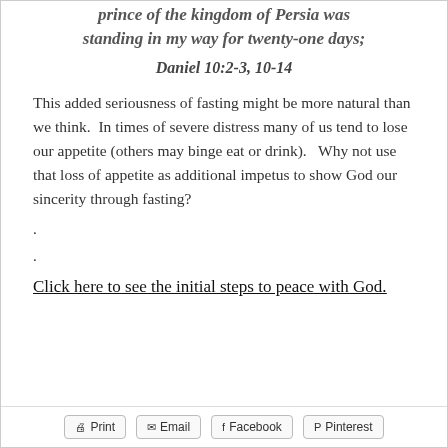prince of the kingdom of Persia was standing in my way for twenty-one days;
Daniel 10:2-3, 10-14
This added seriousness of fasting might be more natural than we think.  In times of severe distress many of us tend to lose our appetite (others may binge eat or drink).   Why not use that loss of appetite as additional impetus to show God our sincerity through fasting?
.
.
Click here to see the initial steps to peace with God.
Print  Email  Facebook  Pinterest